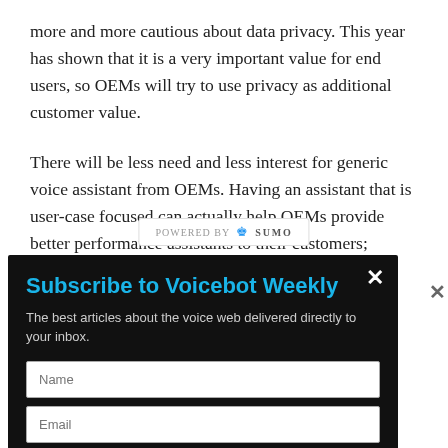more and more cautious about data privacy. This year has shown that it is a very important value for end users, so OEMs will try to use privacy as additional customer value.
There will be less need and less interest for generic voice assistant from OEMs. Having an assistant that is user-case focused can actually help OEMs provide better performance assistants to their customers; instead of ch/other utions (data th the y are even is also
[Figure (screenshot): POWERED BY SUMO branding bar with crown icon]
[Figure (screenshot): Subscribe to Voicebot Weekly modal popup with title, description, Name field, Email field, and SUBSCRIBE button on dark background]